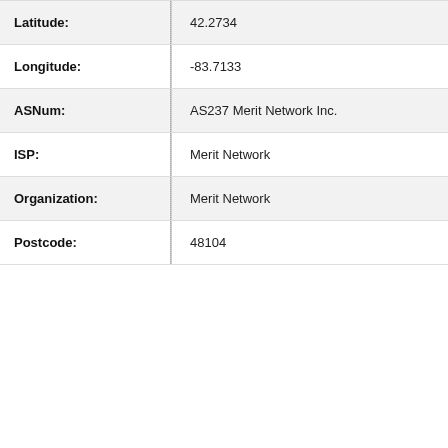| Field | Value |
| --- | --- |
| Latitude: | 42.2734 |
| Longitude: | -83.7133 |
| ASNum: | AS237 Merit Network Inc. |
| ISP: | Merit Network |
| Organization: | Merit Network |
| Postcode: | 48104 |